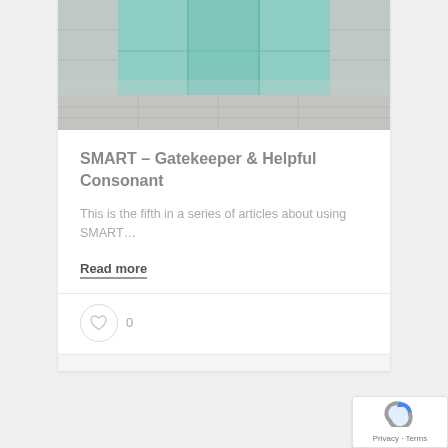[Figure (photo): Photograph of aged teal/mint colored doors or panels on a stone wall, viewed from a low angle with stone pavement in the foreground]
SMART – Gatekeeper & Helpful Consonant
This is the fifth in a series of articles about using SMART…
Read more
0